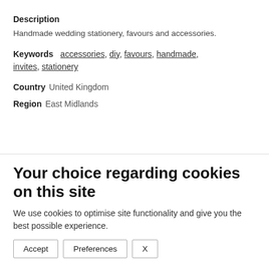Description
Handmade wedding stationery, favours and accessories.
Keywords   accessories, diy, favours, handmade, invites, stationery
Country   United Kingdom
Region   East Midlands
Your choice regarding cookies on this site
We use cookies to optimise site functionality and give you the best possible experience.
Accept   Preferences   X